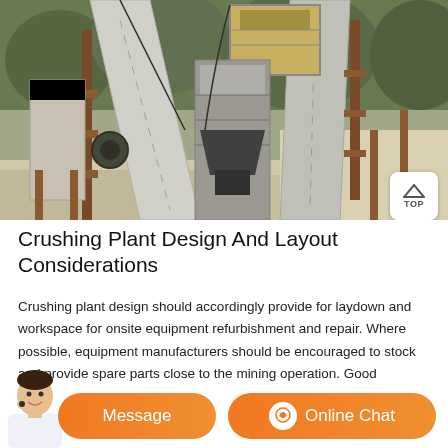[Figure (photo): Industrial crushing plant with conveyor belts and metal frame structure at a mining site, outdoor setting with trees and sandy ground visible]
Crushing Plant Design And Layout Considerations
Crushing plant design should accordingly provide for laydown and workspace for onsite equipment refurbishment and repair. Where possible, equipment manufacturers should be encouraged to stock and provide spare parts close to the mining operation. Good geotechnical information is essential to crushing plant siting and design. Installing a
[Figure (other): Chat bar with Message button and Online Chat button, with customer service avatar]